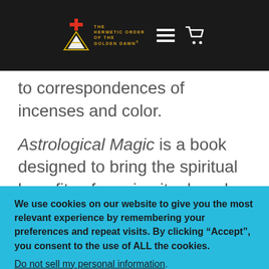The Hermetic Order of the Golden Dawn
to correspondences of incenses and color.
Astrological Magic is a book designed to bring the spiritual benefits of magic, ritual, and devotional practice
We use cookies on our website to give you the most relevant experience by remembering your preferences and repeat visits. By clicking “Accept”, you consent to the use of ALL the cookies.
Do not sell my personal information.